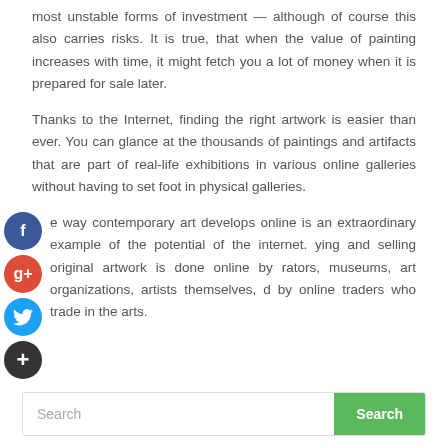most unstable forms of investment — although of course this also carries risks. It is true, that when the value of painting increases with time, it might fetch you a lot of money when it is prepared for sale later.
Thanks to the Internet, finding the right artwork is easier than ever. You can glance at the thousands of paintings and artifacts that are part of real-life exhibitions in various online galleries without having to set foot in physical galleries.
The way contemporary art develops online is an extraordinary example of the potential of the internet. Buying and selling original artwork is done online by curators, museums, art organizations, artists themselves, and by online traders who trade in the arts.
[Figure (other): Social media share buttons: Facebook (blue circle with f), Google+ (red circle with g+), Twitter (blue circle with bird), and a dark plus button]